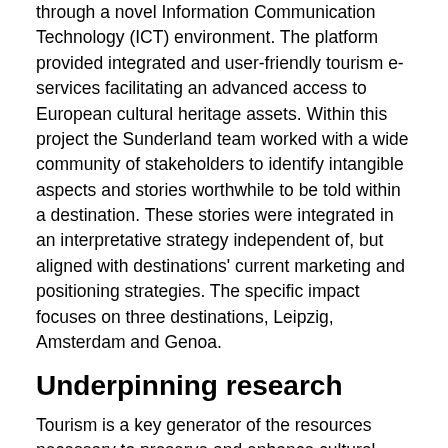through a novel Information Communication Technology (ICT) environment. The platform provided integrated and user-friendly tourism e-services facilitating an advanced access to European cultural heritage assets. Within this project the Sunderland team worked with a wide community of stakeholders to identify intangible aspects and stories worthwhile to be told within a destination. These stories were integrated in an interpretative strategy independent of, but aligned with destinations' current marketing and positioning strategies. The specific impact focuses on three destinations, Leipzig, Amsterdam and Genoa.
Underpinning research
Tourism is a key generator of the resources necessary to preserve and enhance cultural heritage in a sustainable way. A successful relationship between cultural heritage and tourism depends on the implementation of a positive communication process that makes the heritage experience attractive and meaningful. The tourist encounter can be significantly enhanced through effective and engaging heritage interpretation, which plays a crucial role in assisting the visitor's process of learning. As interest in heritage